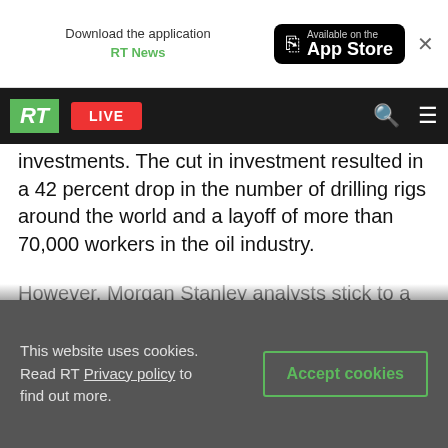Download the application RT News — Available on the App Store
RT LIVE
day, compared with an average of 2014 and a investments. The cut in investment resulted in a 42 percent drop in the number of drilling rigs around the world and a layoff of more than 70,000 workers in the oil industry.
However, Morgan Stanley analysts stick to a forecast showing that prices are expected to increase; the rise in oil prices will happen mainly because OPEC doesn't have a significant amount of spare capacity and the storage tanks already filled. Nevertheless, the prospects for an increased oil supply from Iran and Libya leave room for
This website uses cookies. Read RT Privacy policy to find out more. Accept cookies